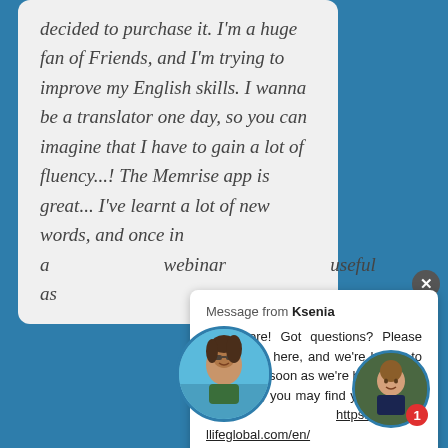decided to purchase it. I'm a huge fan of Friends, and I'm trying to improve my English skills. I wanna be a translator one day, so you can imagine that I have to gain a lot of fluency...! The Memrise app is great... I've learnt a lot of new words, and once in a webinar useful as
Message from Ksenia
Hey there! Got questions? Please send them here, and we're happy to answer as soon as we're back online. Until then, you may find your answer here: https://help.reallifeglobal.com/en/
[Figure (photo): Circular avatar photo of a woman with sunglasses on a beach]
[Figure (photo): Circular avatar photo of a person with a notification badge showing '1']